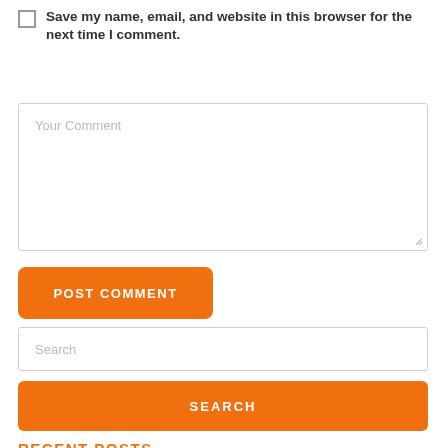Save my name, email, and website in this browser for the next time I comment.
Your Comment
POST COMMENT
Search
SEARCH
RECENT POSTS